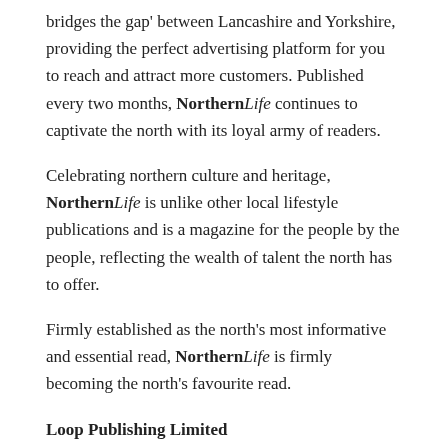bridges the gap' between Lancashire and Yorkshire, providing the perfect advertising platform for you to reach and attract more customers. Published every two months, NorthernLife continues to captivate the north with its loyal army of readers.
Celebrating northern culture and heritage, NorthernLife is unlike other local lifestyle publications and is a magazine for the people by the people, reflecting the wealth of talent the north has to offer.
Firmly established as the north's most informative and essential read, NorthernLife is firmly becoming the north's favourite read.
Loop Publishing Limited
2a Market Place,
Suite 7, Burton House,
Colne,